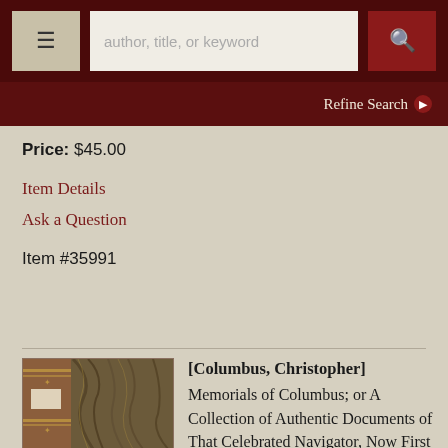author, title, or keyword [search bar with menu and search icons]
Refine Search
Price: $45.00
Item Details
Ask a Question
Item #35991
[Figure (photo): Photo of an antique book spine viewed from above, showing marbled board covers and leather spine with decorative gilt tooling.]
[Columbus, Christopher]
Memorials of Columbus; or A Collection of Authentic Documents of That Celebrated Navigator, Now First Published from the Original Manuscripts, By Order of the Decurions of Genoa; Preceded by a ...